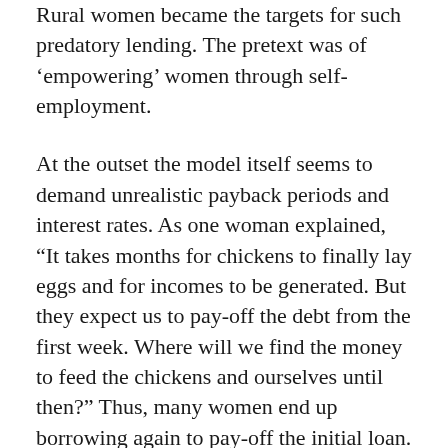Rural women became the targets for such predatory lending. The pretext was of ‘empowering’ women through self-employment.
At the outset the model itself seems to demand unrealistic payback periods and interest rates. As one woman explained, “It takes months for chickens to finally lay eggs and for incomes to be generated. But they expect us to pay-off the debt from the first week. Where will we find the money to feed the chickens and ourselves until then?” Thus, many women end up borrowing again to pay-off the initial loan.
Even in the unlikely scenario that a woman with excellent entrepreneurial skills makes 100% profits on selling eggs, it is impossible for her to make enough to pay interests charged by microfinance